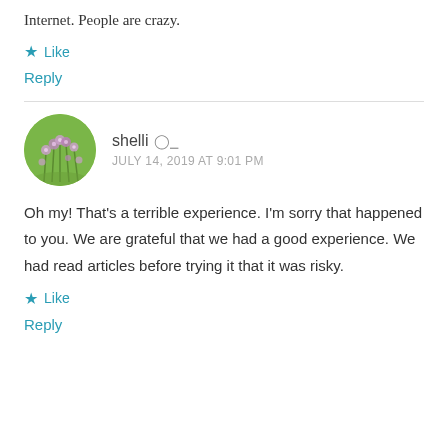Internet. People are crazy.
Like
Reply
shelli  JULY 14, 2019 AT 9:01 PM
Oh my! That's a terrible experience. I'm sorry that happened to you. We are grateful that we had a good experience. We had read articles before trying it that it was risky.
Like
Reply